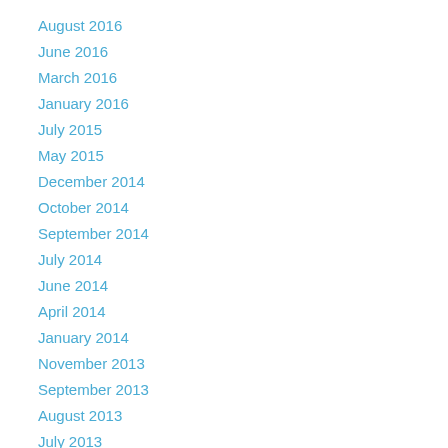August 2016
June 2016
March 2016
January 2016
July 2015
May 2015
December 2014
October 2014
September 2014
July 2014
June 2014
April 2014
January 2014
November 2013
September 2013
August 2013
July 2013
June 2013
May 2013
April 2013